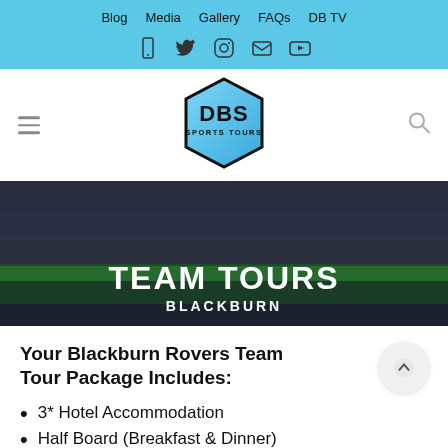Blog   Media   Gallery   FAQs   DB TV
[Figure (logo): DBS Sports Tours hexagonal logo with blue gradient fill and black border]
[Figure (photo): Football stadium crowd scene with dark overlay used as hero background image]
TEAM TOURS
BLACKBURN
Your Blackburn Rovers Team Tour Package Includes:
3* Hotel Accommodation
Half Board (Breakfast & Dinner)